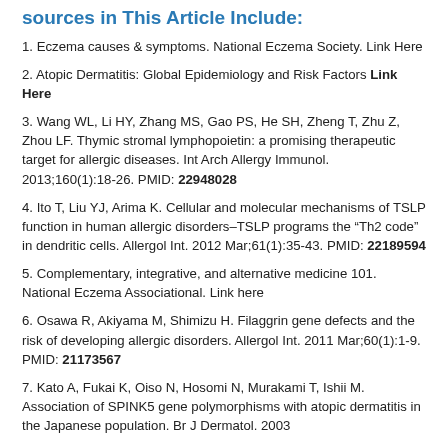sources in This Article Include:
1. Eczema causes & symptoms. National Eczema Society. Link Here
2. Atopic Dermatitis: Global Epidemiology and Risk Factors Link Here
3. Wang WL, Li HY, Zhang MS, Gao PS, He SH, Zheng T, Zhu Z, Zhou LF. Thymic stromal lymphopoietin: a promising therapeutic target for allergic diseases. Int Arch Allergy Immunol. 2013;160(1):18-26. PMID: 22948028
4. Ito T, Liu YJ, Arima K. Cellular and molecular mechanisms of TSLP function in human allergic disorders–TSLP programs the "Th2 code" in dendritic cells. Allergol Int. 2012 Mar;61(1):35-43. PMID: 22189594
5. Complementary, integrative, and alternative medicine 101. National Eczema Associational. Link here
6. Osawa R, Akiyama M, Shimizu H. Filaggrin gene defects and the risk of developing allergic disorders. Allergol Int. 2011 Mar;60(1):1-9. PMID: 21173567
7. Kato A, Fukai K, Oiso N, Hosomi N, Murakami T, Ishii M. Association of SPINK5 gene polymorphisms with atopic dermatitis in the Japanese population. Br J Dermatol. 2003